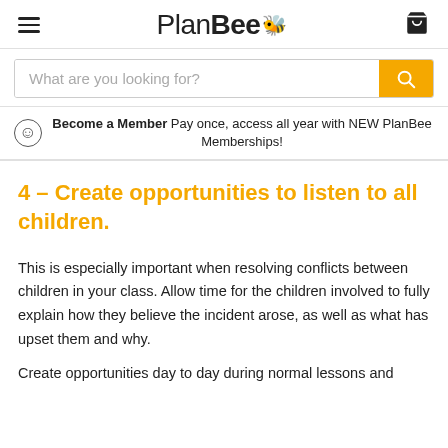PlanBee
What are you looking for?
Become a Member Pay once, access all year with NEW PlanBee Memberships!
4 – Create opportunities to listen to all children.
This is especially important when resolving conflicts between children in your class. Allow time for the children involved to fully explain how they believe the incident arose, as well as what has upset them and why.
Create opportunities day to day during normal lessons and